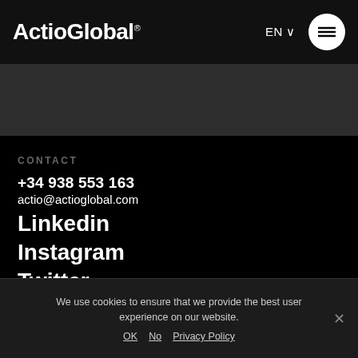ActioGlobal® EN ≡
[Figure (other): Dark grey band background section]
CONTACT
+34 938 553 163
actio@actioglobal.com
Linkedin
Instagram
Twitter
Spotify
We use cookies to ensure that we provide the best user experience on our website. OK No Privacy Policy